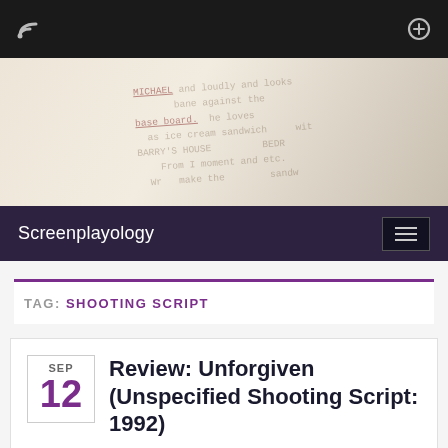[Figure (screenshot): Top black navigation bar with RSS feed icon on left and search/zoom icon on right]
[Figure (photo): Close-up photo of an open screenplay/script book with handwritten or typed text visible on the pages, slightly blurred, warm tones]
Screenplayology
TAG: SHOOTING SCRIPT
Review: Unforgiven (Unspecified Shooting Script: 1992)
By Andrew in Featured Articles, Script Reviews